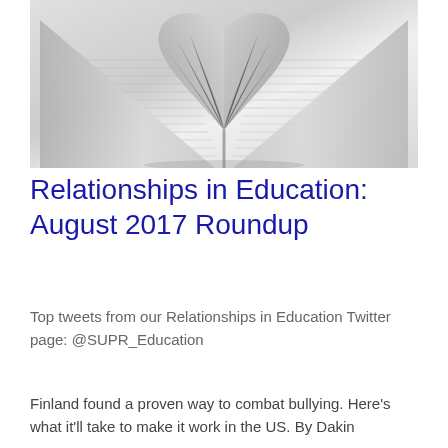[Figure (photo): Black and white photograph of an open book with pages folded into a heart shape, viewed from above]
Relationships in Education: August 2017 Roundup
Top tweets from our Relationships in Education Twitter page: @SUPR_Education
Finland found a proven way to combat bullying. Here's what it'll take to make it work in the US. By Dakin